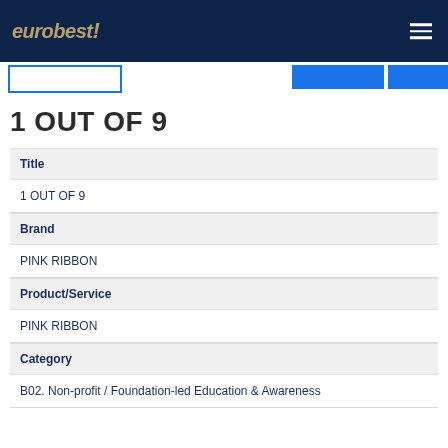[Figure (logo): Eurobest logo with golden italic text and exclamation mark on dark navy background]
1 OUT OF 9
| Title | 1 OUT OF 9 |
| Brand | PINK RIBBON |
| Product/Service | PINK RIBBON |
| Category | B02. Non-profit / Foundation-led Education & Awareness |